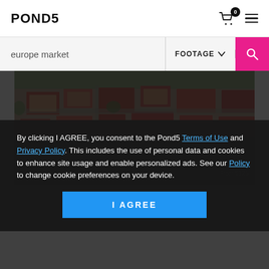POND5
europe market  |  FOOTAGE
[Figure (photo): Aerial view of a European city with red-roofed buildings and streets, partially obscured by dark overlay]
By clicking I AGREE, you consent to the Pond5 Terms of Use and Privacy Policy. This includes the use of personal data and cookies to enhance site usage and enable personalized ads. See our Policy to change cookie preferences on your device.
00:30  HD | 4K   From $125
I AGREE